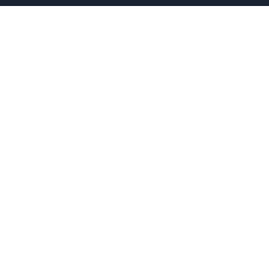where assetGraph contains an Html asset with this fragment:
[Figure (screenshot): Code block showing HTML: <link rel="stylesheet" href="foo.css" />]
and foo.css contains:
[Figure (screenshot): Code block showing CSS: body { background-image: url(small.gif); }]
will be turned into:
[Figure (screenshot): Code block showing: <!--[if IE]><link rel="stylesheet" href="foo.cs  <!--[if !IE]>--><link rel="stylesheet" href="12]
where 1234.css is a copy of the original foo.css